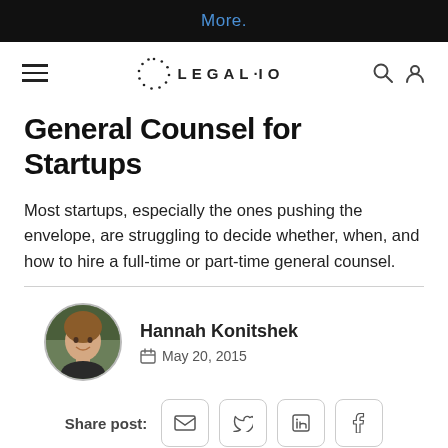More.
[Figure (logo): Legal.io logo with dotted circle and nav icons]
General Counsel for Startups
Most startups, especially the ones pushing the envelope, are struggling to decide whether, when, and how to hire a full-time or part-time general counsel.
Hannah Konitshek — May 20, 2015
Share post: